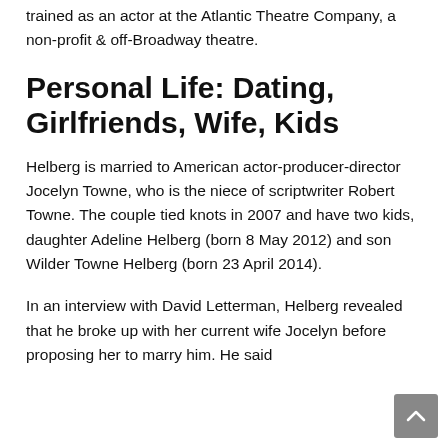trained as an actor at the Atlantic Theatre Company, a non-profit & off-Broadway theatre.
Personal Life: Dating, Girlfriends, Wife, Kids
Helberg is married to American actor-producer-director Jocelyn Towne, who is the niece of scriptwriter Robert Towne. The couple tied knots in 2007 and have two kids, daughter Adeline Helberg (born 8 May 2012) and son Wilder Towne Helberg (born 23 April 2014).
In an interview with David Letterman, Helberg revealed that he broke up with her current wife Jocelyn before proposing her to marry him. He said